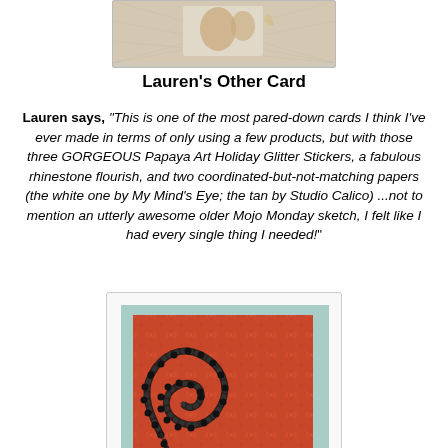[Figure (photo): Top portion of a handmade card with a beige/tan diamond pattern background, partially visible at top of page]
Lauren's Other Card
Lauren says, "This is one of the most pared-down cards I think I've ever made in terms of only using a few products, but with those three GORGEOUS Papaya Art Holiday Glitter Stickers, a fabulous rhinestone flourish, and two coordinated-but-not-matching papers (the white one by My Mind's Eye; the tan by Studio Calico) ...not to mention an utterly awesome older Mojo Monday sketch, I felt like I had every single thing I needed!"
[Figure (photo): A handmade card featuring red/orange floral patterned paper with black rhinestone/pearl swirl flourish design on a light teal/mint background]